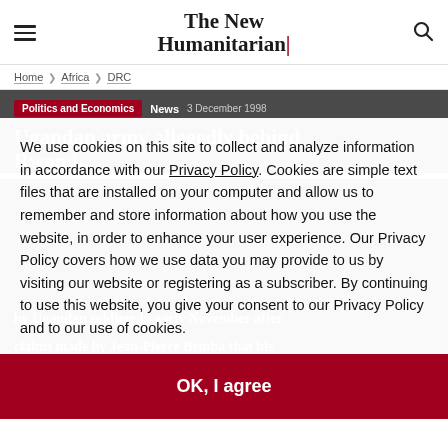The New Humanitarian
Home > Africa > DRC
Politics and Economics  News  3 December 1998
Ugandan army allegedly behind Rwandan...
We use cookies on this site to collect and analyze information in accordance with our Privacy Policy. Cookies are simple text files that are installed on your computer and allow us to remember and store information about how you use the website, in order to enhance your user experience. Our Privacy Policy covers how we use data you may provide to us by visiting our website or registering as a subscriber. By continuing to use this website, you give your consent to our Privacy Policy and to our use of cookies.
OK, I agree
by Ugandan soldiers in early November after
claims made by Jean-Pierre Bemba that his Mouvement de liberation congolais (MLC) rebel